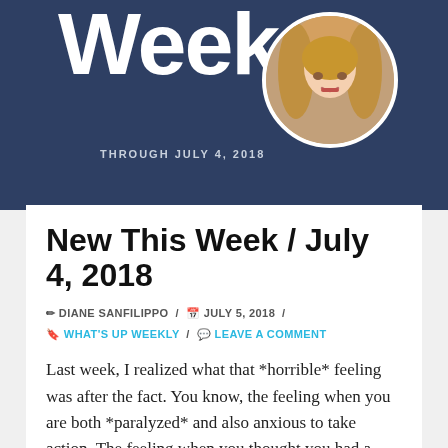[Figure (photo): Header banner with dark navy background, partial text 'Week' in large white letters, a circular portrait photo of a woman with long blonde hair and red lipstick, and the text 'THROUGH JULY 4, 2018' in small caps]
New This Week / July 4, 2018
✏ DIANE SANFILIPPO / 📅 JULY 5, 2018 / 🔖 WHAT'S UP WEEKLY / 💬 LEAVE A COMMENT
Last week, I realized what that *horrible* feeling was after the fact. You know, the feeling when you are both *paralyzed* and also anxious to take action. The feeling when you thought you had a good idea, but then something came along, or (someone?), or just the wrong information entered your consciousness and suddenly, SELF DOUBT sets in. I will ...